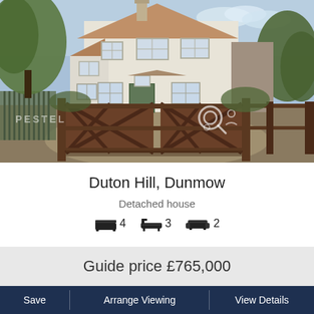[Figure (photo): Exterior photo of a white detached cottage/house with a brown wooden gate in the foreground, trees on either side, driveway visible. Watermark text 'PESTELL' partially visible in lower left. Search icon overlay visible.]
Duton Hill, Dunmow
Detached house
4 bedrooms, 3 bathrooms, 2 reception rooms
Guide price £765,000
Save | Arrange Viewing | View Details